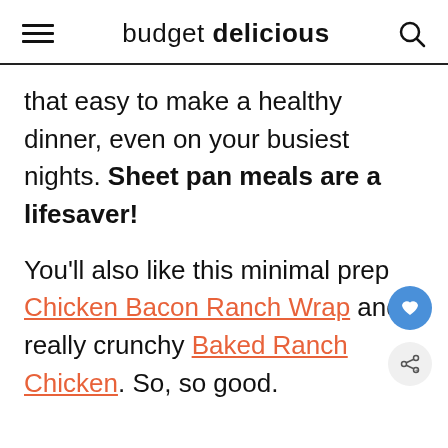budget delicious
that easy to make a healthy dinner, even on your busiest nights. Sheet pan meals are a lifesaver!
You'll also like this minimal prep Chicken Bacon Ranch Wrap and really crunchy Baked Ranch Chicken. So, so good.